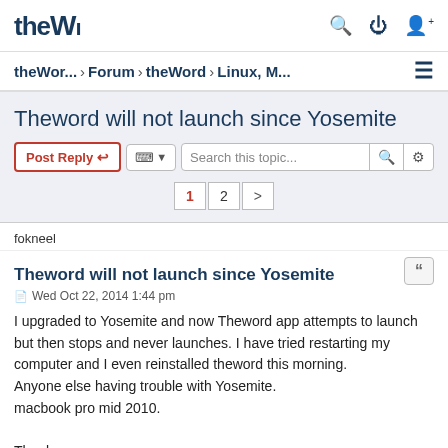theW... | forum navigation icons
theWor... › Forum › theWord › Linux, M... ≡
Theword will not launch since Yosemite
Post Reply | tools | Search this topic... | 1 2 >
fokneel
Theword will not launch since Yosemite
Wed Oct 22, 2014 1:44 pm
I upgraded to Yosemite and now Theword app attempts to launch but then stops and never launches. I have tried restarting my computer and I even reinstalled theword this morning.
Anyone else having trouble with Yosemite.
macbook pro mid 2010.

Thank you.